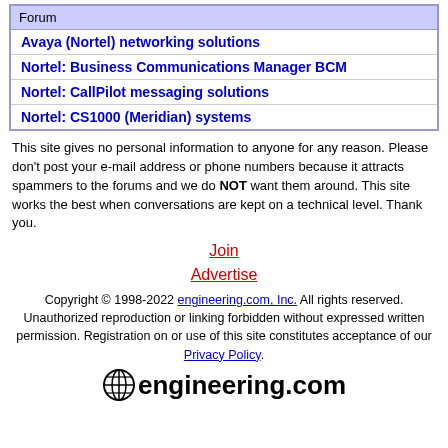| Forum |
| --- |
| Avaya (Nortel) networking solutions |
| Nortel: Business Communications Manager BCM |
| Nortel: CallPilot messaging solutions |
| Nortel: CS1000 (Meridian) systems |
This site gives no personal information to anyone for any reason. Please don't post your e-mail address or phone numbers because it attracts spammers to the forums and we do NOT want them around. This site works the best when conversations are kept on a technical level. Thank you.
Join
Advertise
Copyright © 1998-2022 engineering.com, Inc. All rights reserved. Unauthorized reproduction or linking forbidden without expressed written permission. Registration on or use of this site constitutes acceptance of our Privacy Policy.
[Figure (logo): engineering.com logo with globe icon]